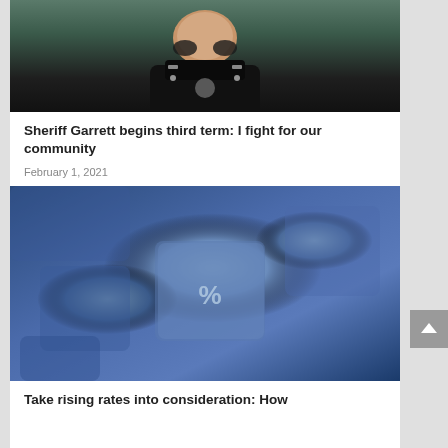[Figure (photo): Sheriff in black police uniform with stars on shoulders, close-up portrait photo, upper body visible]
Sheriff Garrett begins third term: I fight for our community
February 1, 2021
[Figure (photo): Close-up macro photograph of blue keyboard keys with a percent sign (%) key prominently in center focus]
Take rising rates into consideration: How